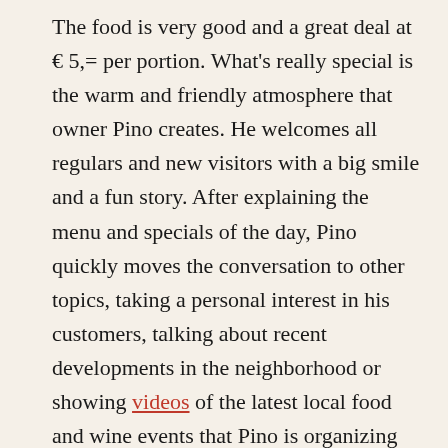The food is very good and a great deal at € 5,= per portion. What's really special is the warm and friendly atmosphere that owner Pino creates. He welcomes all regulars and new visitors with a big smile and a fun story. After explaining the menu and specials of the day, Pino quickly moves the conversation to other topics, taking a personal interest in his customers, talking about recent developments in the neighborhood or showing videos of the latest local food and wine events that Pino is organizing with some of the other cafe and shop owners on Hoofddorpplein. While chatting, Pino loves to break out a bottle of wine from the store and offer a taste to shorten the wait for the take away food.